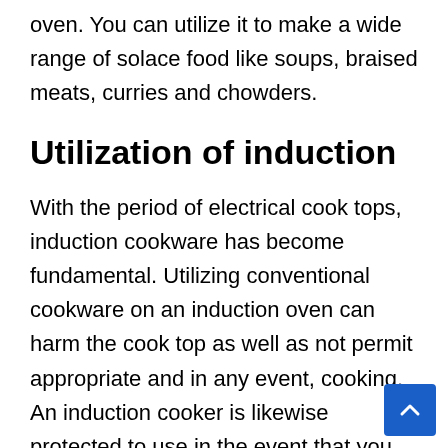oven. You can utilize it to make a wide range of solace food like soups, braised meats, curries and chowders.
Utilization of induction
With the period of electrical cook tops, induction cookware has become fundamental. Utilizing conventional cookware on an induction oven can harm the cook top as well as not permit appropriate and in any event, cooking. An induction cooker is likewise protected to use in the event that you have kids or older individuals in your home. Induction pots and pans are planned so that intensity infiltrates the cookware however anything non ferrous won't